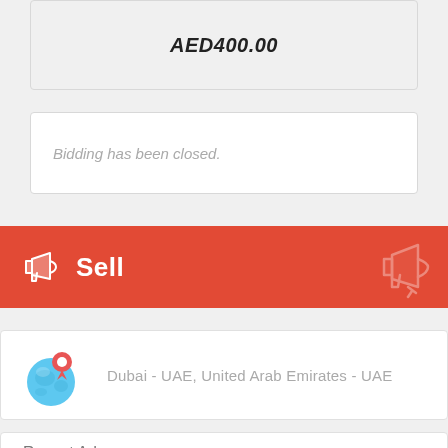AED400.00
Bidding has been closed.
Sell
Dubai - UAE, United Arab Emirates - UAE
Recent Ads